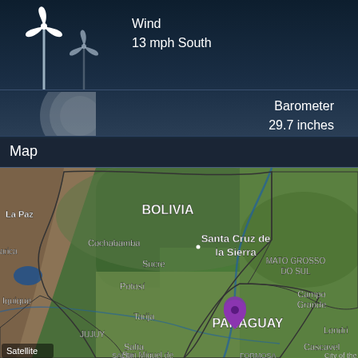[Figure (infographic): Wind turbine icons on dark blue background]
Wind
13 mph South
Barometer
29.7 inches
Map
[Figure (map): Satellite map showing Bolivia, Paraguay and surrounding regions in South America. A purple location pin is placed in Paraguay. Cities labeled include La Paz, Cochabamba, Santa Cruz de la Sierra, Sucre, Potosí, Tarija, Iquique, Jujuy, Salta, San Miguel de Tucuman, Formosa, Campo Grande, Londri, Cascavel, City of the East. Regions: Bolivia, Paraguay, Mato Grosso do Sul, Salta, Formosa. Bottom-left label reads 'Satellite'.]